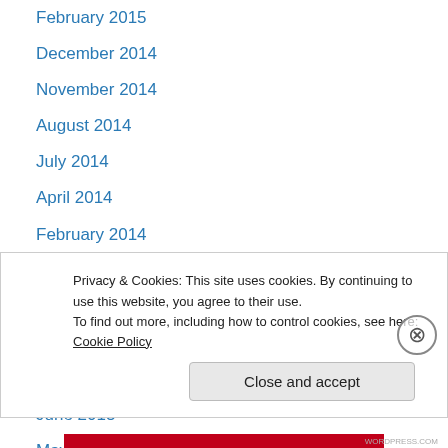February 2015
December 2014
November 2014
August 2014
July 2014
April 2014
February 2014
January 2014
October 2013
September 2013
August 2013
June 2013
May 2013
Privacy & Cookies: This site uses cookies. By continuing to use this website, you agree to their use.
To find out more, including how to control cookies, see here: Cookie Policy
Close and accept